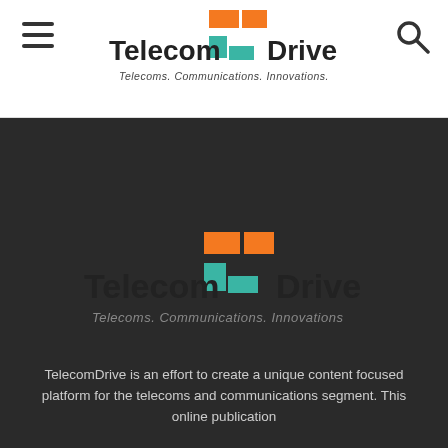[Figure (logo): TelecomDrive logo in header: bold text 'TelecomDrive' with orange and teal square icon, tagline 'Telecoms. Communications. Innovations.' below]
[Figure (logo): TelecomDrive logo centered in dark footer section: large bold 'TelecomDrive' with orange and teal square icon, italic tagline 'Telecoms. Communications. Innovations']
TelecomDrive is an effort to create a unique content focused platform for the telecoms and communications segment. This online publication